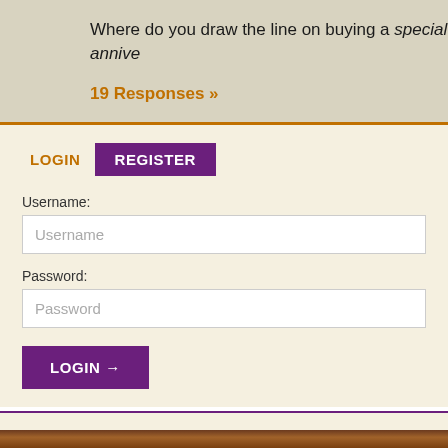Where do you draw the line on buying a special annive
19 Responses »
LOGIN
REGISTER
Username:
Username
Password:
Password
LOGIN →
© 2020 Rock Town Hall